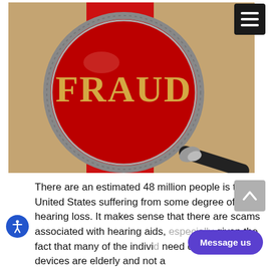[Figure (photo): A magnifying glass over the word FRAUD printed in gold serif letters on a red background, with a tan/brown paper background.]
There are an estimated 48 million people is the United States suffering from some degree of hearing loss. It makes sense that there are scams associated with hearing aids, especially given the fact that many of the indivi... need of these devices are elderly and not a